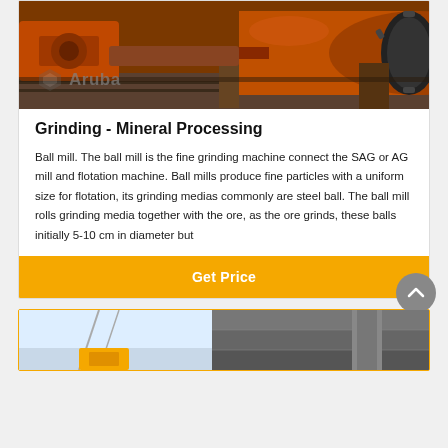[Figure (photo): Industrial ball mill machinery in orange/red color with gears, photographed in a facility. Aruba logo watermark in bottom left.]
Grinding - Mineral Processing
Ball mill. The ball mill is the fine grinding machine connect the SAG or AG mill and flotation machine. Ball mills produce fine particles with a uniform size for flotation, its grinding medias commonly are steel ball. The ball mill rolls grinding media together with the ore, as the ore grinds, these balls initially 5-10 cm in diameter but
[Figure (photo): Second card partially visible at bottom showing industrial equipment images.]